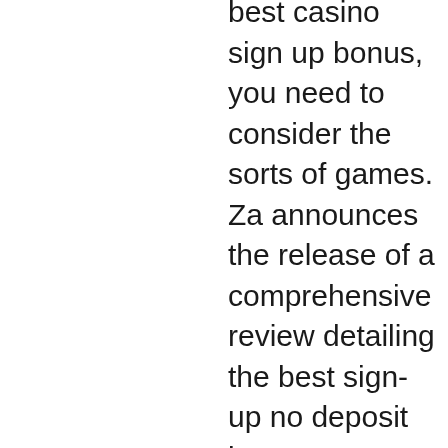best casino sign up bonus, you need to consider the sorts of games. Za announces the release of a comprehensive review detailing the best sign-up no deposit bonuses at top-rated sa online casinos. Best online casino sign up bonuses. Don't be so distracted by the offer of a great signup bonus that you miss the important details. Not all of these. The best gambling sites for every type of online casino bonus. A sign-up, or welcome bonus, is for new players who create an account and make a deposit. These casino sites with free sign up bonuses take many forms, from a matched deposit
The charm is furthered by the availability of a mobile app for ease of on the go gaming and betting, best casino sign up bonuses.
Joycasino online casino offers a wide selection of slots from over 30 world